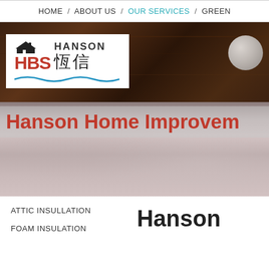HOME / ABOUT US / OUR SERVICES / GREEN
[Figure (screenshot): Hanson Home Improvement website hero section showing HBS Hanson logo with Chinese characters over a dark attic/insulation background photo, with red text title 'Hanson Home Improvem...']
ATTIC INSULLATION
FOAM INSULATION
Hanson